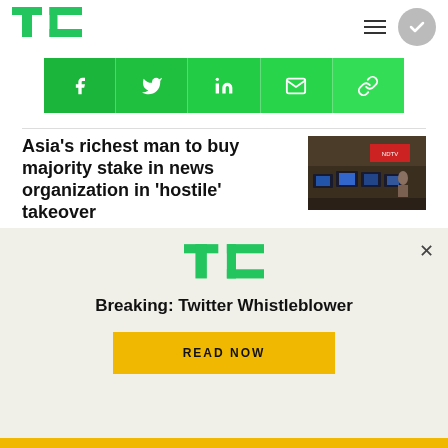TechCrunch
[Figure (infographic): Social share buttons bar with icons for Facebook, Twitter, LinkedIn, Email, and Link on green background]
Asia's richest man to buy majority stake in news organization in 'hostile' takeover
[Figure (photo): News organization office with computer monitors and staff working]
[Figure (logo): TechCrunch TC logo in green]
Breaking: Twitter Whistleblower
READ NOW